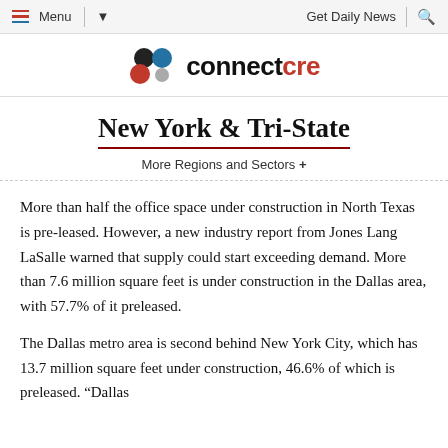Menu | Get Daily News
[Figure (logo): connectcre logo with colored dots (dark, blue, red, gray)]
New York & Tri-State
More Regions and Sectors +
More than half the office space under construction in North Texas is pre-leased. However, a new industry report from Jones Lang LaSalle warned that supply could start exceeding demand. More than 7.6 million square feet is under construction in the Dallas area, with 57.7% of it preleased.
The Dallas metro area is second behind New York City, which has 13.7 million square feet under construction, 46.6% of which is preleased. "Dallas